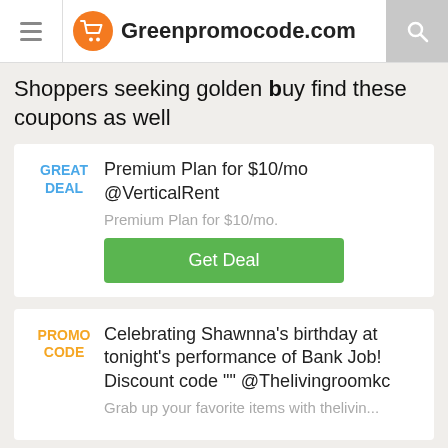Greenpromocode.com
Shoppers seeking golden buy find these coupons as well
GREAT DEAL — Premium Plan for $10/mo @VerticalRent — Premium Plan for $10/mo. — Get Deal
PROMO CODE — Celebrating Shawnna's birthday at tonight's performance of Bank Job! Discount code "" @Thelivingroomkc — Grab up your favorite items with thelivin...